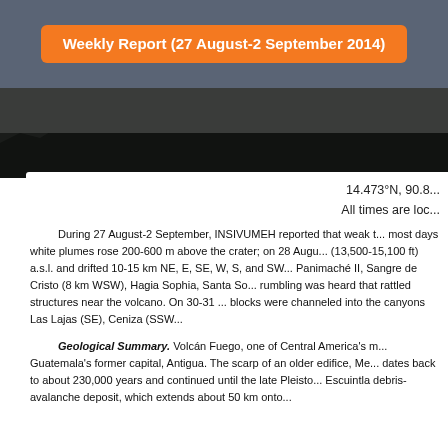Weekly Report (27 August-2 September 2014)
[Figure (photo): Photograph of Volcán Fuego, dark volcanic landscape]
14.473°N, 90.8...
All times are loc...
During 27 August-2 September, INSIVUMEH reported that weak t... most days white plumes rose 200-600 m above the crater; on 28 Augu... (13,500-15,100 ft) a.s.l. and drifted 10-15 km NE, E, SE, W, S, and SW... Panimaché II, Sangre de Cristo (8 km WSW), Hagia Sophia, Santa So... rumbling was heard that rattled structures near the volcano. On 30-31 ... blocks were channeled into the canyons Las Lajas (SE), Ceniza (SSW...
Geological Summary. Volcán Fuego, one of Central America's m... Guatemala's former capital, Antigua. The scarp of an older edifice, Me... dates back to about 230,000 years and continued until the late Pleisto... Escuintla debris-avalanche deposit, which extends about 50 km onto...